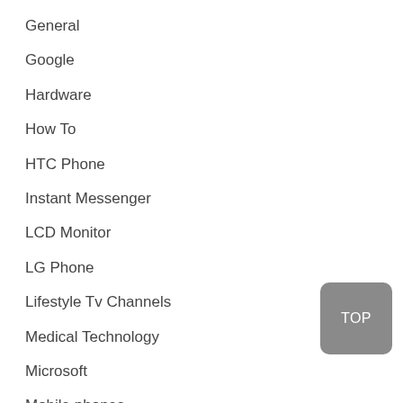General
Google
Hardware
How To
HTC Phone
Instant Messenger
LCD Monitor
LG Phone
Lifestyle Tv Channels
Medical Technology
Microsoft
Mobile phones
Motorola Phone